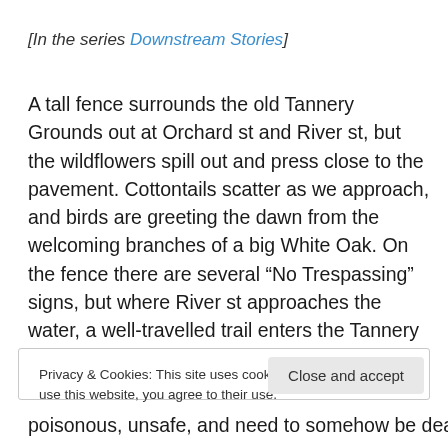[In the series Downstream Stories]
A tall fence surrounds the old Tannery Grounds out at Orchard st and River st, but the wildflowers spill out and press close to the pavement. Cottontails scatter as we approach, and birds are greeting the dawn from the welcoming branches of a big White Oak. On the fence there are several “No Trespassing” signs, but where River st approaches the water, a well-travelled trail enters the Tannery Grounds through a deliberate gate.
Privacy & Cookies: This site uses cookies. By continuing to use this website, you agree to their use.
To find out more, including how to control cookies, see here: Cookie Policy
Close and accept
poisonous, unsafe, and need to somehow be dealt with.